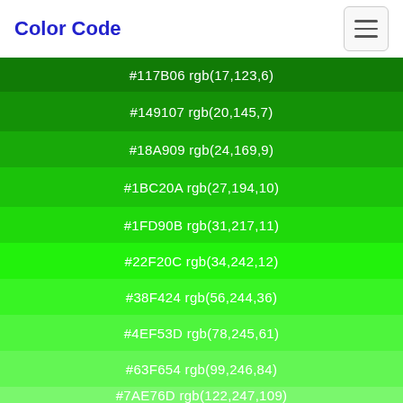Color Code
#117B06 rgb(17,123,6)
#149107 rgb(20,145,7)
#18A909 rgb(24,169,9)
#1BC20A rgb(27,194,10)
#1FD90B rgb(31,217,11)
#22F20C rgb(34,242,12)
#38F424 rgb(56,244,36)
#4EF53D rgb(78,245,61)
#63F654 rgb(99,246,84)
#7AE76D rgb(122,247,109)